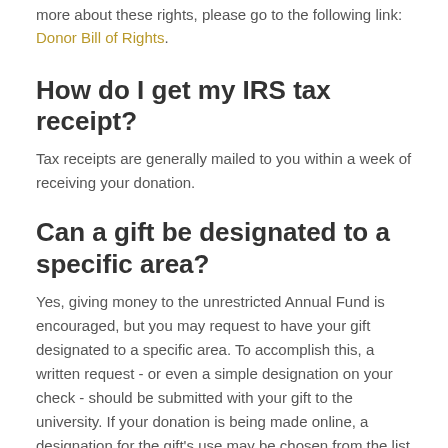more about these rights, please go to the following link: Donor Bill of Rights.
How do I get my IRS tax receipt?
Tax receipts are generally mailed to you within a week of receiving your donation.
Can a gift be designated to a specific area?
Yes, giving money to the unrestricted Annual Fund is encouraged, but you may request to have your gift designated to a specific area. To accomplish this, a written request - or even a simple designation on your check - should be submitted with your gift to the university. If your donation is being made online, a designation for the gift's use may be chosen from the list provided. If you would like to designate a gift for a program that is not listed, then